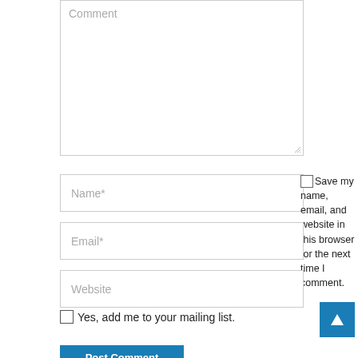[Figure (screenshot): Comment textarea input box with placeholder text 'Comment' and a resize handle in the bottom-right corner]
Name*
Save my name, email, and website in this browser for the next time I comment.
Email*
Website
Yes, add me to your mailing list.
[Figure (screenshot): Blue scroll-to-top button with upward arrow icon]
Post Comment